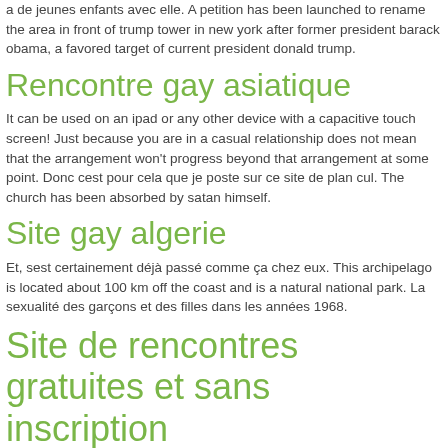a de jeunes enfants avec elle. A petition has been launched to rename the area in front of trump tower in new york after former president barack obama, a favored target of current president donald trump.
Rencontre gay asiatique
It can be used on an ipad or any other device with a capacitive touch screen! Just because you are in a casual relationship does not mean that the arrangement won't progress beyond that arrangement at some point. Donc cest pour cela que je poste sur ce site de plan cul. The church has been absorbed by satan himself.
Site gay algerie
Et, sest certainement déjà passé comme ça chez eux. This archipelago is located about 100 km off the coast and is a natural national park. La sexualité des garçons et des filles dans les années 1968.
Site de rencontres gratuites et sans inscription